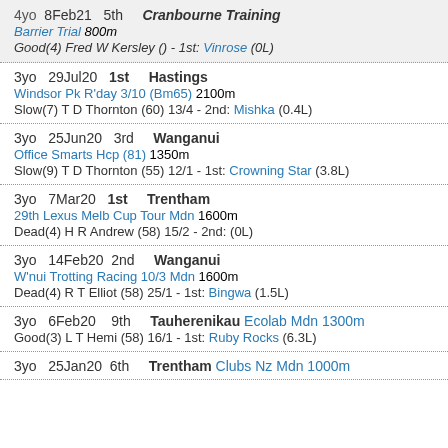4yo 8Feb21 5th Cranbourne Training Barrier Trial 800m Good(4) Fred W Kersley () - 1st: Vinrose (0L)
3yo 29Jul20 1st Hastings Windsor Pk R'day 3/10 (Bm65) 2100m Slow(7) T D Thornton (60) 13/4 - 2nd: Mishka (0.4L)
3yo 25Jun20 3rd Wanganui Office Smarts Hcp (81) 1350m Slow(9) T D Thornton (55) 12/1 - 1st: Crowning Star (3.8L)
3yo 7Mar20 1st Trentham 29th Lexus Melb Cup Tour Mdn 1600m Dead(4) H R Andrew (58) 15/2 - 2nd: (0L)
3yo 14Feb20 2nd Wanganui W'nui Trotting Racing 10/3 Mdn 1600m Dead(4) R T Elliot (58) 25/1 - 1st: Bingwa (1.5L)
3yo 6Feb20 9th Tauherenikau Ecolab Mdn 1300m Good(3) L T Hemi (58) 16/1 - 1st: Ruby Rocks (6.3L)
3yo 25Jan20 6th Trentham Clubs Nz Mdn 1000m